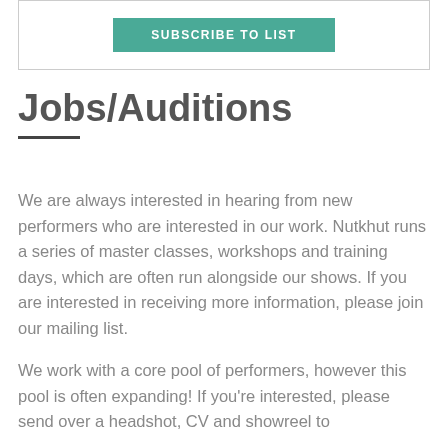[Figure (other): Subscribe to list button inside a bordered box]
Jobs/Auditions
We are always interested in hearing from new performers who are interested in our work. Nutkhut runs a series of master classes, workshops and training days, which are often run alongside our shows. If you are interested in receiving more information, please join our mailing list.
We work with a core pool of performers, however this pool is often expanding! If you're interested, please send over a headshot, CV and showreel to